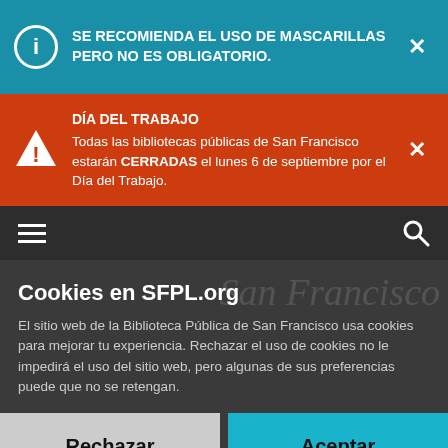SE RECOMIENDA EL USO DE MASCARILLAS PERO NO ES OBLIGATORIO.
DÍA DEL TRABAJO
Todas las bibliotecas públicas de San Francisco estarán CERRADAS el lunes 6 de septiembre por el Día del Trabajo.
[Figure (screenshot): Navigation bar with hamburger menu and search icon]
Cookies en SFPL.org
El sitio web de la Biblioteca Pública de San Francisco usa cookies para mejorar tu experiencia. Rechazar el uso de cookies no le impedirá el uso del sitio web, pero algunas de sus preferencias puede que no se retengan.
Rechazar
Aceptar